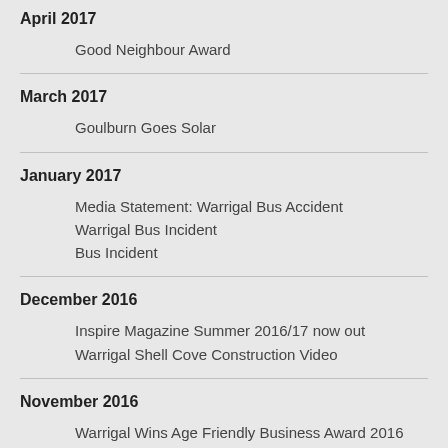April 2017
Good Neighbour Award
March 2017
Goulburn Goes Solar
January 2017
Media Statement: Warrigal Bus Accident
Warrigal Bus Incident
Bus Incident
December 2016
Inspire Magazine Summer 2016/17 now out
Warrigal Shell Cove Construction Video
November 2016
Warrigal Wins Age Friendly Business Award 2016